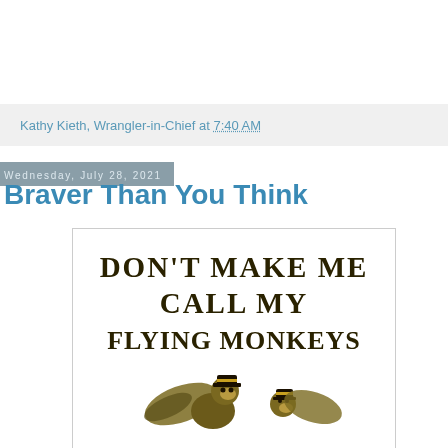Kathy Kieth, Wrangler-in-Chief at 7:40 AM
Wednesday, July 28, 2021
Braver Than You Think
[Figure (illustration): Book cover showing 'Don't Make Me Call My Flying Monkeys' text in decorative serif font with illustration of flying monkeys at the bottom]